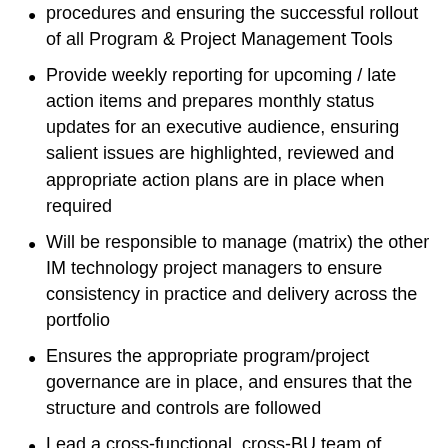procedures and ensuring the successful rollout of all Program & Project Management Tools
Provide weekly reporting for upcoming / late action items and prepares monthly status updates for an executive audience, ensuring salient issues are highlighted, reviewed and appropriate action plans are in place when required
Will be responsible to manage (matrix) the other IM technology project managers to ensure consistency in practice and delivery across the portfolio
Ensures the appropriate program/project governance are in place, and ensures that the structure and controls are followed
Lead a cross-functional, cross-BU team of project managers for the assigned strategic initiatives which may include leading some